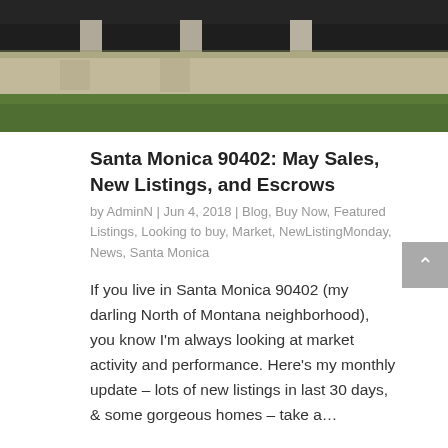[Figure (photo): Photo of a home exterior showing a dark fence/wall, paved walkway, and green lawn]
Santa Monica 90402: May Sales, New Listings, and Escrows
by AdminN | Jun 4, 2018 | Blog, Buy Now, Featured Listings, Looking to buy, Market, NewListingMonday, News, Santa Monica
If you live in Santa Monica 90402 (my darling North of Montana neighborhood), you know I'm always looking at market activity and performance. Here's my monthly update – lots of new listings in last 30 days, & some gorgeous homes – take a…
« Older Entries